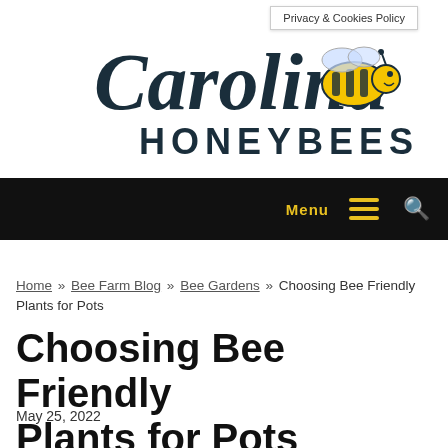Privacy & Cookies Policy
[Figure (logo): Carolina Honeybees logo with cursive 'Carolina' text, 'HONEYBEES' in block letters, and a cartoon bee illustration]
Menu
Home » Bee Farm Blog » Bee Gardens » Choosing Bee Friendly Plants for Pots
Choosing Bee Friendly Plants for Pots
May 25, 2022